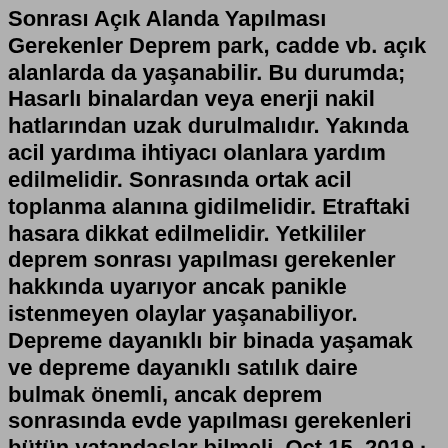Sonrası Açık Alanda Yapılması Gerekenler Deprem park, cadde vb. açık alanlarda da yaşanabilir. Bu durumda; Hasarlı binalardan veya enerji nakil hatlarından uzak durulmalıdır. Yakında acil yardıma ihtiyacı olanlara yardım edilmelidir. Sonrasında ortak acil toplanma alanına gidilmelidir. Etraftaki hasara dikkat edilmelidir. Yetkililer deprem sonrası yapılması gerekenler hakkında uyarıyor ancak panikle istenmeyen olaylar yaşanabiliyor. Depreme dayanıklı bir binada yaşamak ve depreme dayanıklı satılık daire bulmak önemli, ancak deprem sonrasında evde yapılması gerekenleri bütün vatandaşlar bilmeli. Oct 15, 2019 · Hem can hem de mal kaybının önüne geçebilmek için yapmamız gereken ise olası bir depreme karşı her daim hazırlıklı olmak, deprem sırasında ve sonrasında yapılması gerekenleri bilmek. Peki; deprem önlemleri nelerdir, depremde ne yapılır ve depremden sonra yapılacaklar nelerdir? Almanız gereken en önemli önlemleri ...